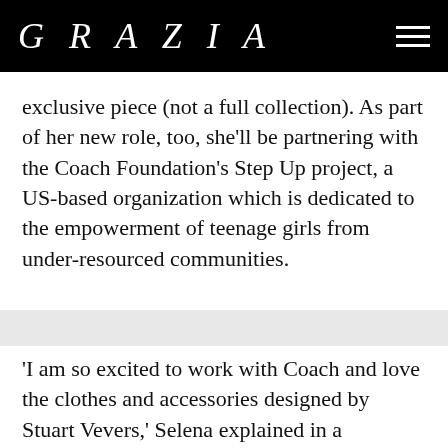GRAZIA
exclusive piece (not a full collection). As part of her new role, too, she'll be partnering with the Coach Foundation's Step Up project, a US-based organization which is dedicated to the empowerment of teenage girls from under-resourced communities.
'I am so excited to work with Coach and love the clothes and accessories designed by Stuart Vevers,' Selena explained in a statement. 'I am especially looking forward to getting to know the Coach team as well as becoming involved in the